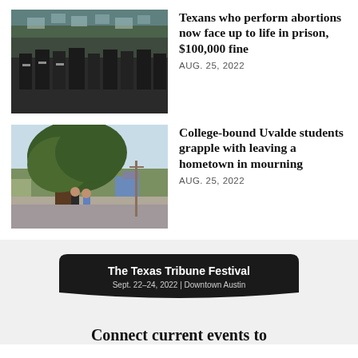[Figure (photo): Crowd of protesters with signs and police officers in black uniforms in foreground]
Texans who perform abortions now face up to life in prison, $100,000 fine
AUG. 25, 2022
[Figure (photo): Two people standing under a large oak tree on a sunny street in a small town]
College-bound Uvalde students grapple with leaving a hometown in mourning
AUG. 25, 2022
[Figure (logo): The Texas Tribune Festival banner - Sept. 22-24, 2022 | Downtown Austin]
Connect current events to